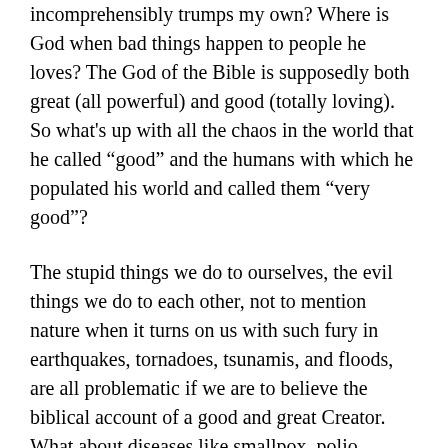incomprehensibly trumps my own? Where is God when bad things happen to people he loves? The God of the Bible is supposedly both great (all powerful) and good (totally loving). So what's up with all the chaos in the world that he called “good” and the humans with which he populated his world and called them “very good”?
The stupid things we do to ourselves, the evil things we do to each other, not to mention nature when it turns on us with such fury in earthquakes, tornadoes, tsunamis, and floods, are all problematic if we are to believe the biblical account of a good and great Creator. What about diseases like smallpox, polio, cancer, car accidents or drownings? Millions of East Africans face famine and starvation due to dictatorial and corrupt governments. Hundreds of millions have been displaced and are on the run from their persecutors or other brands of villains throughout the world. Every day, children die in childbirth, terrorists murder masses of innocents, and children are